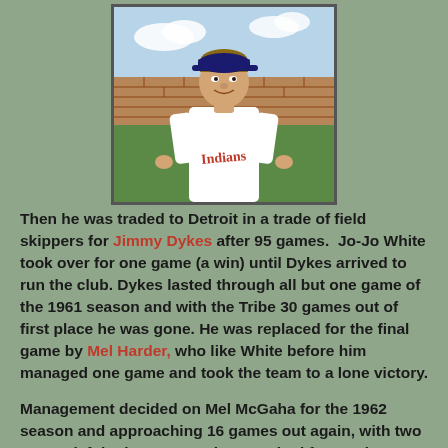[Figure (illustration): Illustrated baseball card showing a Cleveland Indians player in white uniform smiling, with a green field and brick wall background.]
Then he was traded to Detroit in a trade of field skippers for Jimmy Dykes after 95 games.  Jo-Jo White took over for one game (a win) until Dykes arrived to run the club. Dykes lasted through all but one game of the 1961 season and with the Tribe 30 games out of first place he was gone. He was replaced for the final game by Mel Harder, who like White before him managed one game and took the team to a lone victory.
Management decided on Mel McGaha for the 1962 season and approaching 16 games out again, with two games left in the season, they reached for Harder again, and again he was undefeated. Birdie Tebbetts, with an allegiance to Indians GM Gabe Paul, signed a three year